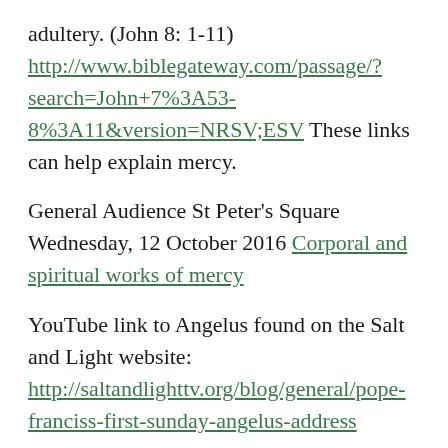adultery. (John 8: 1-11) http://www.biblegateway.com/passage/?search=John+7%3A53-8%3A11&version=NRSV;ESV These links can help explain mercy.
General Audience St Peter's Square Wednesday, 12 October 2016 Corporal and spiritual works of mercy
YouTube link to Angelus found on the Salt and Light website: http://saltandlighttv.org/blog/general/pope-franciss-first-sunday-angelus-address